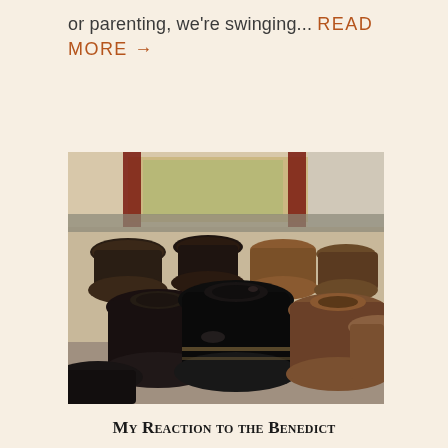or parenting, we're swinging... READ MORE →
[Figure (photo): Rows of large traditional dark ceramic fermentation pots (onggi jars) arranged outdoors, photographed close up. The pots are dark brown to black glazed clay with wide lids. A building with red pillars and glass windows is visible in the background.]
My Reaction to the Benedict